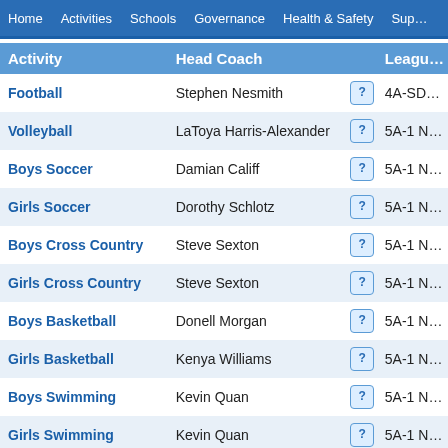Home  Activities  Schools  Governance  Health & Safety  Sup…
| Activity | Head Coach |  | Leagu… |
| --- | --- | --- | --- |
| Football | Stephen Nesmith | ? | 4A-SD… |
| Volleyball | LaToya Harris-Alexander | ? | 5A-1 N… |
| Boys Soccer | Damian Califf | ? | 5A-1 N… |
| Girls Soccer | Dorothy Schlotz | ? | 5A-1 N… |
| Boys Cross Country | Steve Sexton | ? | 5A-1 N… |
| Girls Cross Country | Steve Sexton | ? | 5A-1 N… |
| Boys Basketball | Donell Morgan | ? | 5A-1 N… |
| Girls Basketball | Kenya Williams | ? | 5A-1 N… |
| Boys Swimming | Kevin Quan | ? | 5A-1 N… |
| Girls Swimming | Kevin Quan | ? | 5A-1 N… |
| Wrestling | TBD |  | 5A-1 N… |
| Dance/Drill | Danielle Schneider | ? | 6A/5A/… |
| Cheerleading | Danielle Pritchet | ? | 6A/5A/… |